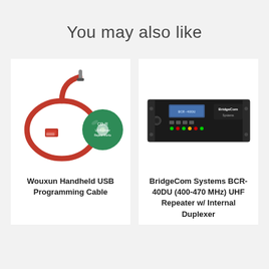You may also like
[Figure (photo): Wouxun Handheld USB Programming Cable with red USB cable and green CD-R disc]
Wouxun Handheld USB Programming Cable
[Figure (photo): BridgeCom Systems BCR-40DU rack-mounted UHF repeater unit]
BridgeCom Systems BCR-40DU (400-470 MHz) UHF Repeater w/ Internal Duplexer